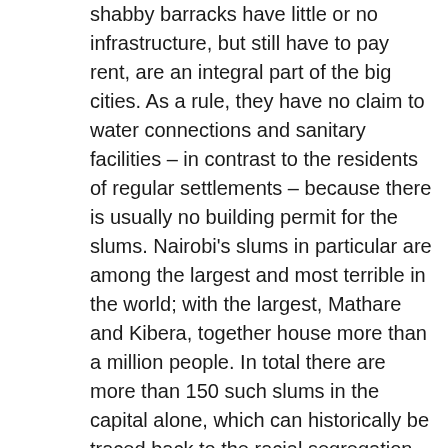shabby barracks have little or no infrastructure, but still have to pay rent, are an integral part of the big cities. As a rule, they have no claim to water connections and sanitary facilities – in contrast to the residents of regular settlements – because there is usually no building permit for the slums. Nairobi's slums in particular are among the largest and most terrible in the world; with the largest, Mathare and Kibera, together house more than a million people. In total there are more than 150 such slums in the capital alone, which can historically be traced back to the racial segregation at the time of the Mau Mau uprisings and to the rural exodus of past decades.

There have always been attempts to improve the living conditions and infrastructure in the slums. Some successful, many in vain. In the meantime, word has got around that the average age on the Mathare dumps is only 38 years. The escape from the country to the slums is said to have decreased. Instead, the slums grow out of themselves without the residents receiving the help of